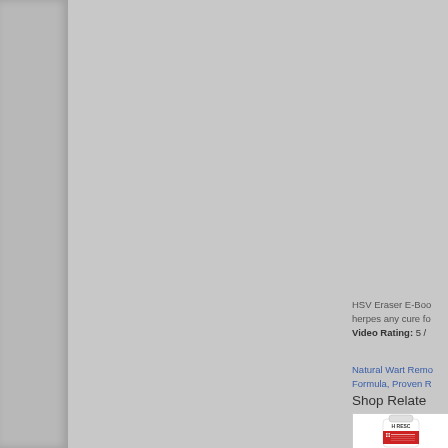HSV Eraser E-Boo... herpes any cure fo...
Video Rating: 5 /
Natural Wart Remo... Formula, Proven R...
Shop Relate
[Figure (photo): Product bottle labeled H RESC with red and white label design]